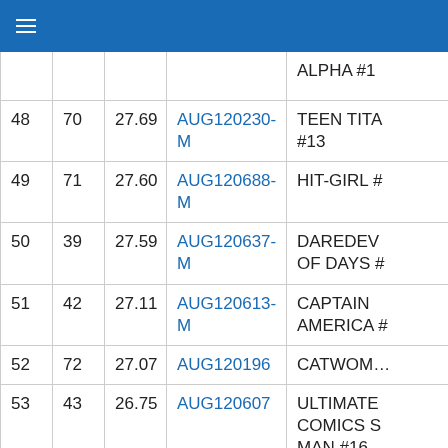≡
|  |  |  |  |  |
| --- | --- | --- | --- | --- |
|  |  |  | ALPHA #1 |  |
| 48 | 70 | 27.69 | AUG120230-M | TEEN TITANS #13 |
| 49 | 71 | 27.60 | AUG120688-M | HIT-GIRL # |
| 50 | 39 | 27.59 | AUG120637-M | DAREDEV OF DAYS # |
| 51 | 42 | 27.11 | AUG120613-M | CAPTAIN AMERICA # |
| 52 | 72 | 27.07 | AUG120196 | CATWOM… |
| 53 | 43 | 26.75 | AUG120607 | ULTIMATE COMICS S MAN #16 |